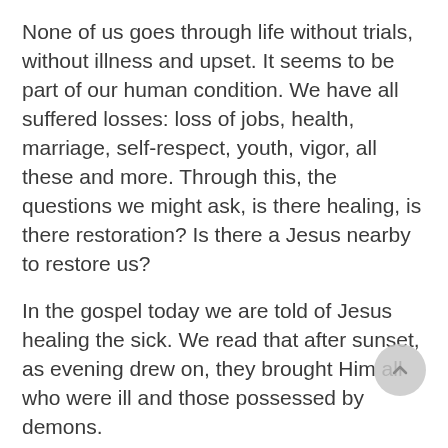None of us goes through life without trials, without illness and upset. It seems to be part of our human condition. We have all suffered losses: loss of jobs, health, marriage, self-respect, youth, vigor, all these and more. Through this, the questions we might ask, is there healing, is there restoration? Is there a Jesus nearby to restore us?
In the gospel today we are told of Jesus healing the sick. We read that after sunset, as evening drew on, they brought Him all who were ill and those possessed by demons.
The sick could not be brought out into the glaring heat of the day, for it would make them worse, but as evening drew on, as the cooler wind from the sea was refreshing the village, they could be brought to Jesus.
As you read the story, we can almost see Jesus